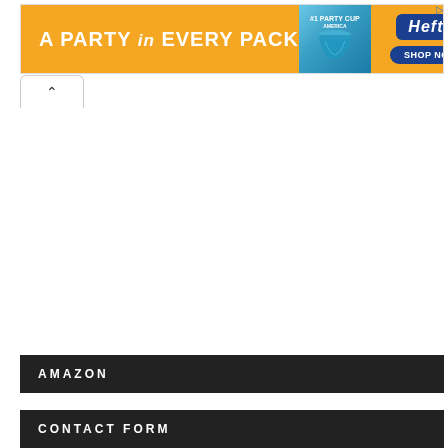[Figure (screenshot): Orange Hefty advertisement banner reading 'A PARTY in EVERY PACK' with Hefty cup product image and 'SHOP NOW' button]
AMAZON
CONTACT FORM